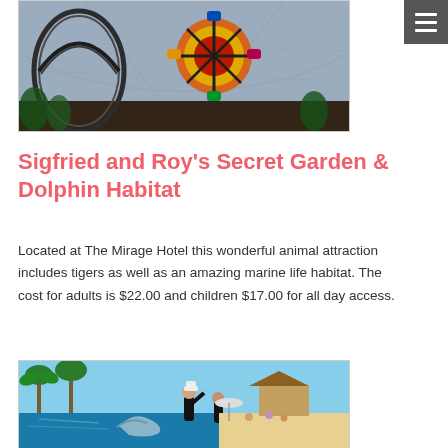[Figure (photo): Indoor amusement park with roller coaster and colorful spinning ride under a large glass dome ceiling]
Sigfried and Roy's Secret Garden & Dolphin Habitat
Located at The Mirage Hotel this wonderful animal attraction includes tigers as well as an amazing marine life habitat. The cost for adults is $22.00 and children $17.00 for all day access.
[Figure (photo): Trainer interacting with a dolphin at an outdoor pool surrounded by palm trees and beach-style facilities]